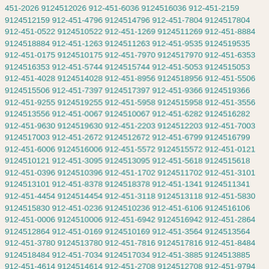451-2026 9124512026 912-451-6036 9124516036 912-451-2159 9124512159 912-451-4796 9124514796 912-451-7804 9124517804 912-451-0522 9124510522 912-451-1269 9124511269 912-451-8884 9124518884 912-451-1263 9124511263 912-451-9535 9124519535 912-451-0175 9124510175 912-451-7970 9124517970 912-451-6353 9124516353 912-451-5744 9124515744 912-451-5053 9124515053 912-451-4028 9124514028 912-451-8956 9124518956 912-451-5506 9124515506 912-451-7397 9124517397 912-451-9366 9124519366 912-451-9255 9124519255 912-451-5958 9124515958 912-451-3556 9124513556 912-451-0067 9124510067 912-451-6282 9124516282 912-451-9630 9124519630 912-451-2203 9124512203 912-451-7003 9124517003 912-451-2672 9124512672 912-451-6799 9124516799 912-451-6006 9124516006 912-451-5572 9124515572 912-451-0121 9124510121 912-451-3095 9124513095 912-451-5618 9124515618 912-451-0396 9124510396 912-451-1702 9124511702 912-451-3101 9124513101 912-451-8378 9124518378 912-451-1341 9124511341 912-451-4454 9124514454 912-451-3118 9124513118 912-451-5830 9124515830 912-451-0236 9124510236 912-451-6106 9124516106 912-451-0006 9124510006 912-451-6942 9124516942 912-451-2864 9124512864 912-451-0169 9124510169 912-451-3564 9124513564 912-451-3780 9124513780 912-451-7816 9124517816 912-451-8484 9124518484 912-451-7034 9124517034 912-451-3885 9124513885 912-451-4614 9124514614 912-451-2708 9124512708 912-451-9794 9124519794 912-451-0616 9124510616 912-451-4505 9124514505 912-451-5680 9124515680 912-451-7455 9124517455 912-451-0780 9124510780 912-451-5608 9124515608 912-451-4151 9124514151 912-